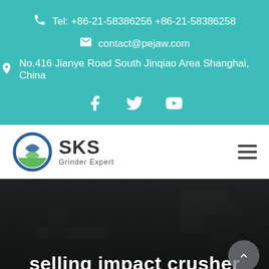Tel: +86-21-58386256 +86-21-58386258
contact@pejaw.com
No.416 Jianye Road South Jinqiao Area Shanghai, China
[Figure (logo): SKS Grinder Expert logo with circular emblem]
selling impact crusher